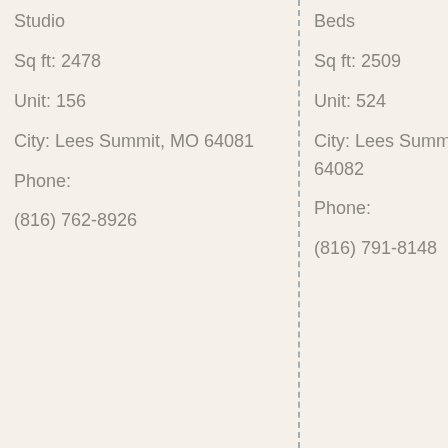Studio
Sq ft: 2478
Unit: 156
City: Lees Summit, MO 64081
Phone: (816) 762-8926
Beds
Sq ft: 2509
Unit: 524
City: Lees Summit, MO 64082
Phone: (816) 791-8148
Beds
Sq ft: 3404
Unit: 53
City: Lees Summit, MO 64065
Phone: (816) 737-4857